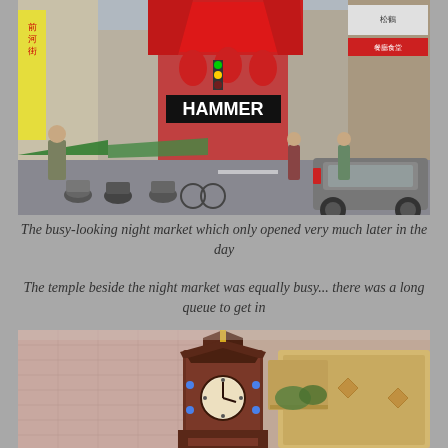[Figure (photo): Busy Asian street scene showing a night market entrance with colorful Chinese signage, lanterns, motorcycles and bicycles parked along the street, pedestrians, and an SUV. A large red arch and banners mark the market entrance. Signs include 'HAMMER' in English and various Chinese characters.]
The busy-looking night market which only opened very much later in the day
The temple beside the night market was equally busy... there was a long queue to get in
[Figure (photo): A temple or ornate building facade featuring a decorative clock tower structure in the foreground with a traditional Asian pagoda-style roof element. The background shows a pink/brick building with balconies. The clock tower has blue lights and a yellow finial at top.]